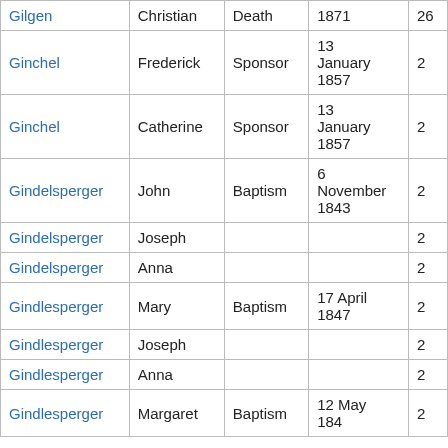| Last Name | First Name | Event | Date | Vol |
| --- | --- | --- | --- | --- |
| Gilgen | Christian | Death | 1871 | 26 |
| Ginchel | Frederick | Sponsor | 13 January 1857 | 2 |
| Ginchel | Catherine | Sponsor | 13 January 1857 | 2 |
| Gindelsperger | John | Baptism | 6 November 1843 | 2 |
| Gindelsperger | Joseph |  |  | 2 |
| Gindelsperger | Anna |  |  | 2 |
| Gindlesperger | Mary | Baptism | 17 April 1847 | 2 |
| Gindlesperger | Joseph |  |  | 2 |
| Gindlesperger | Anna |  |  | 2 |
| Gindlesperger | Margaret | Baptism | 12 May 1849 | 2 |